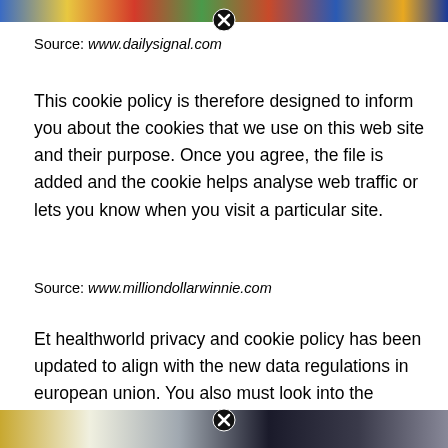[Figure (photo): Colorful banner image at top of page]
Source: www.dailysignal.com
This cookie policy is therefore designed to inform you about the cookies that we use on this web site and their purpose. Once you agree, the file is added and the cookie helps analyse web traffic or lets you know when you visit a particular site.
Source: www.milliondollarwinnie.com
Et healthworld privacy and cookie policy has been updated to align with the new data regulations in european union. You also must look into the cookies policies of all third parties such as advertisers and web analytics services that are using cookies on your website.
[Figure (photo): Image at bottom of page with close button]